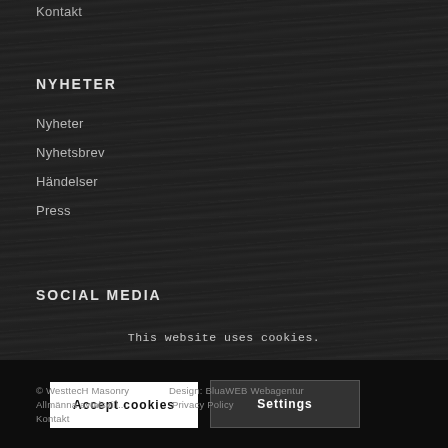Kontakt
NYHETER
Nyheter
Nyhetsbrev
Händelser
Press
SOCIAL MEDIA
This website uses cookies.
Accept cookies
Settings
© WesttecH Masonry Design: BluaWEB Webagentur
Allmänna avtalsvillkor  |  Kontakt     Privacy Policy
Kontakt